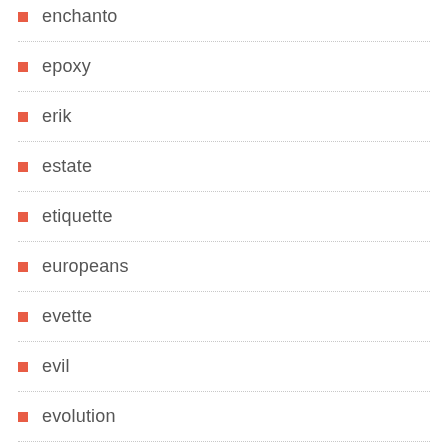enchanto
epoxy
erik
estate
etiquette
europeans
evette
evil
evolution
excellent